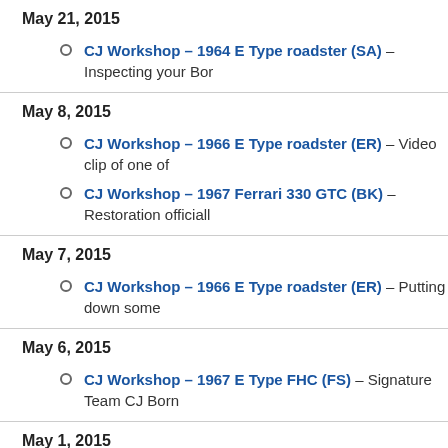May 21, 2015
CJ Workshop – 1964 E Type roadster (SA) – Inspecting your Bor
May 8, 2015
CJ Workshop – 1966 E Type roadster (ER) – Video clip of one of
CJ Workshop – 1967 Ferrari 330 GTC (BK) – Restoration officiall
May 7, 2015
CJ Workshop – 1966 E Type roadster (ER) – Putting down some
May 6, 2015
CJ Workshop – 1967 E Type FHC (FS) – Signature Team CJ Born
May 1, 2015
Cars for Sale – 1965 Sunbeam Tiger – Price reduced for quick sal